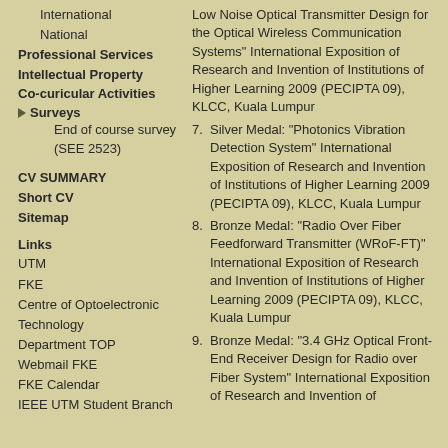International
National
Professional Services
Intellectual Property
Co-curicular Activities
▶ Surveys
End of course survey (SEE 2523)
CV SUMMARY
Short CV
Sitemap
Links
UTM
FKE
Centre of Optoelectronic Technology
Department TOP
Webmail FKE
FKE Calendar
IEEE UTM Student Branch
Low Noise Optical Transmitter Design for the Optical Wireless Communication Systems" International Exposition of Research and Invention of Institutions of Higher Learning 2009 (PECIPTA 09), KLCC, Kuala Lumpur
7. Silver Medal: "Photonics Vibration Detection System" International Exposition of Research and Invention of Institutions of Higher Learning 2009 (PECIPTA 09), KLCC, Kuala Lumpur
8. Bronze Medal: "Radio Over Fiber Feedforward Transmitter (WRoF-FT)" International Exposition of Research and Invention of Institutions of Higher Learning 2009 (PECIPTA 09), KLCC, Kuala Lumpur
9. Bronze Medal: "3.4 GHz Optical Front-End Receiver Design for Radio over Fiber System" International Exposition of Research and Invention of